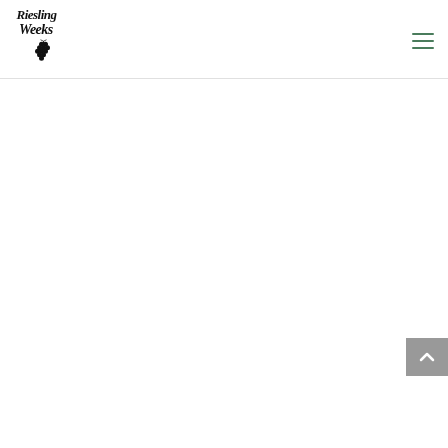[Figure (logo): Riesling Weeks handwritten logo with grape cluster icon in black ink]
[Figure (other): Hamburger menu icon with three horizontal green lines]
[Figure (other): Back to top button: grey square with white chevron/caret pointing upward]